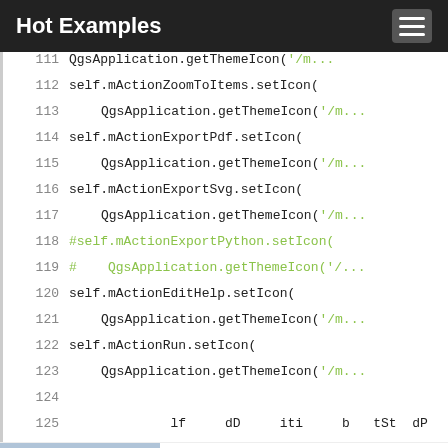Hot Examples
111    QgsApplication.getThemeIcon('/m...
112    self.mActionZoomToItems.setIcon(
113        QgsApplication.getThemeIcon('/m...
114    self.mActionExportPdf.setIcon(
115        QgsApplication.getThemeIcon('/m...
116    self.mActionExportSvg.setIcon(
117        QgsApplication.getThemeIcon('/m...
118    #self.mActionExportPython.setIcon(
119    #    QgsApplication.getThemeIcon('/...
120    self.mActionEditHelp.setIcon(
121        QgsApplication.getThemeIcon('/m...
122    self.mActionRun.setIcon(
123        QgsApplication.getThemeIcon('/m...
124
125    ...
[Figure (screenshot): Ad banner showing a mobile game 'Hold and Move' with text 'They Are Coming!']